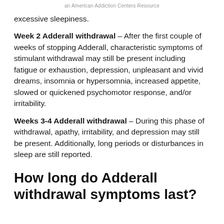an American Addiction Centers Resource
excessive sleepiness.
Week 2 Adderall withdrawal – After the first couple of weeks of stopping Adderall, characteristic symptoms of stimulant withdrawal may still be present including fatigue or exhaustion, depression, unpleasant and vivid dreams, insomnia or hypersomnia, increased appetite, slowed or quickened psychomotor response, and/or irritability.
Weeks 3-4 Adderall withdrawal – During this phase of withdrawal, apathy, irritability, and depression may still be present. Additionally, long periods or disturbances in sleep are still reported.
How long do Adderall withdrawal symptoms last?